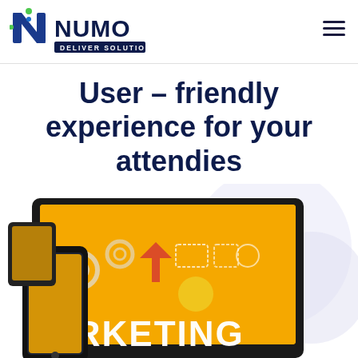[Figure (logo): NUMO Deliver Solutions logo — stylized 'N' in green/blue with dot accents, bold dark blue 'NUMO' text, 'DELIVER SOLUTIONS' on a dark blue banner below]
User – friendly experience for your attendies
[Figure (photo): Marketing technology devices: a laptop/monitor with yellow background showing 'MARKETING' text along with various icons, a smartphone in front, decorative light purple circles in background]